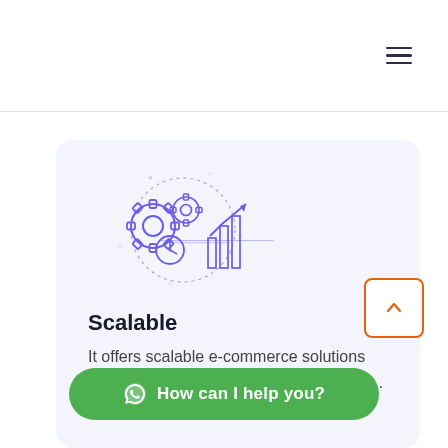Navigation menu (hamburger icon)
[Figure (illustration): Purple line-art illustration of gears, a clock, bar chart, and rising arrow graph inside a dotted circle, representing scalable analytics or e-commerce growth]
Scalable
It offers scalable e-commerce solutions that are flexible enough to meet your fut... will be a website where you can track